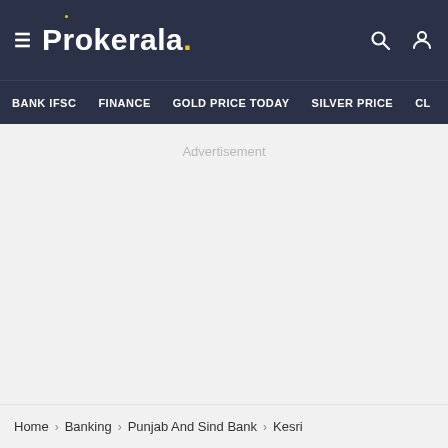Prokeraia — BANK IFSC | FINANCE | GOLD PRICE TODAY | SILVER PRICE | CL
Advertisement
Home > Banking > Punjab And Sind Bank > Kesri